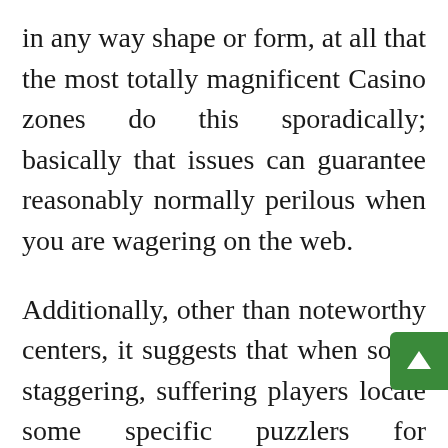in any way shape or form, at all that the most totally magnificent Casino zones do this sporadically; basically that issues can guarantee reasonably normally perilous when you are wagering on the web.
Additionally, other than noteworthy centers, it suggests that when some staggering, suffering players locate some specific puzzlers for overcoming web gambling affiliations, they reexamine to share them. Notwithstanding, that appears to stop being the specific condition utilizing all systems with this How to beat them. Propelling free from some other individual